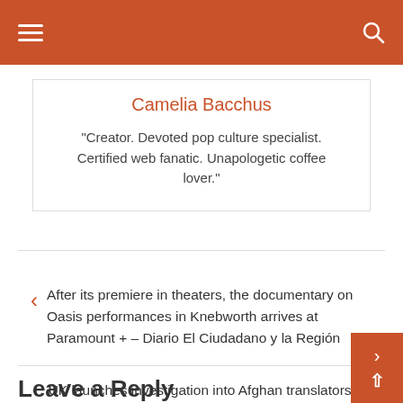Navigation header with hamburger menu and search icon
Camelia Bacchus
“Creator. Devoted pop culture specialist. Certified web fanatic. Unapologetic coffee lover.”
After its premiere in theaters, the documentary on Oasis performances in Knebworth arrives at Paramount + – Diario El Ciudadano y la Región
UK launches investigation into Afghan translators’ data breach
Leave a Reply